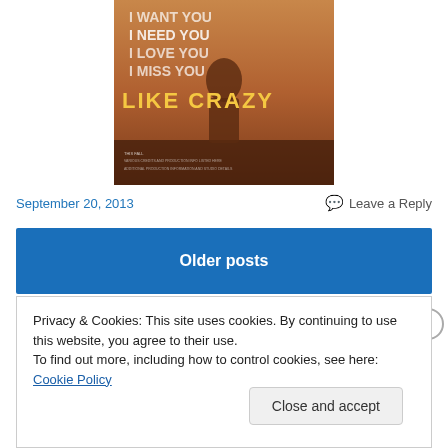[Figure (photo): Movie poster for 'Like Crazy' with text: I WANT YOU / I NEED YOU / I LOVE YOU / I MISS YOU / LIKE CRAZY. THIS FALL.]
September 20, 2013
Leave a Reply
Older posts
Privacy & Cookies: This site uses cookies. By continuing to use this website, you agree to their use.
To find out more, including how to control cookies, see here: Cookie Policy
Close and accept